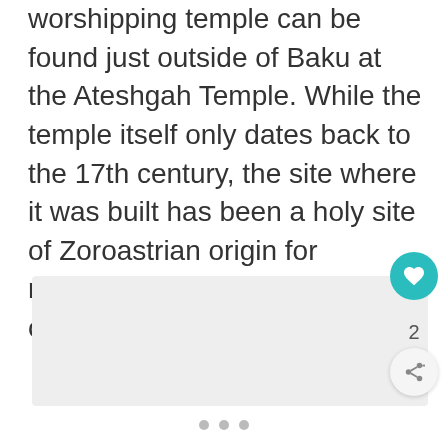worshipping temple can be found just outside of Baku at the Ateshgah Temple. While the temple itself only dates back to the 17th century, the site where it was built has been a holy site of Zoroastrian origin for millennia, pre-dating the arrival of Islam in Azerbaijan.
[Figure (photo): Image placeholder area below text, light gray background]